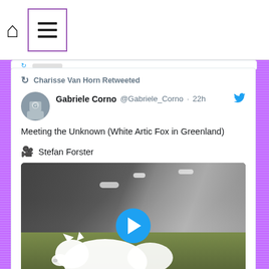[Figure (screenshot): Twitter/social media app screenshot showing a top navigation bar with home icon and hamburger menu icon in a purple-bordered box]
Charisse Van Horn Retweeted
Gabriele Corno @Gabriele_Corno · 22h
Meeting the Unknown (White Artic Fox in Greenland)
🎥 Stefan Forster
[Figure (photo): Video thumbnail showing a white arctic fox on dark rocky terrain with green moss, with a blue play button overlay]